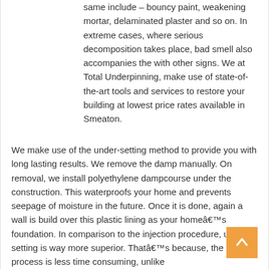same include – bouncy paint, weakening mortar, delaminated plaster and so on. In extreme cases, where serious decomposition takes place, bad smell also accompanies the with other signs. We at Total Underpinning, make use of state-of-the-art tools and services to restore your building at lowest price rates available in Smeaton.
We make use of the under-setting method to provide you with long lasting results. We remove the damp manually. On removal, we install polyethylene dampcourse under the construction. This waterproofs your home and prevents seepage of moisture in the future. Once it is done, again a wall is build over this plastic lining as your homeâ€™s foundation. In comparison to the injection procedure, under-setting is way more superior. Thatâ€™s because, the latter process is less time consuming, unlike